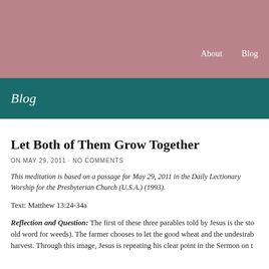About   Blog
Blog
Let Both of Them Grow Together
ON MAY 29, 2011 · NO COMMENTS
This meditation is based on a passage for May 29, 2011 in the Daily Lectionary Worship for the Presbyterian Church (U.S.A.) (1993).
Text: Matthew 13:24-34a
Reflection and Question: The first of these three parables told by Jesus is the sto old word for weeds). The farmer chooses to let the good wheat and the undesirab harvest. Through this image, Jesus is repeating his clear point in the Sermon on t